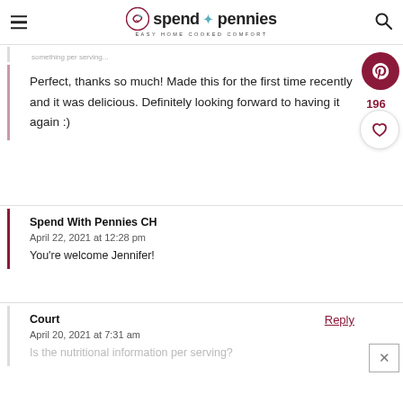spend with pennies — EASY HOME COOKED COMFORT
Perfect, thanks so much! Made this for the first time recently and it was delicious. Definitely looking forward to having it again :)
Spend With Pennies CH
April 22, 2021 at 12:28 pm

You're welcome Jennifer!
Court
April 20, 2021 at 7:31 am

Is the nutritional information per serving?